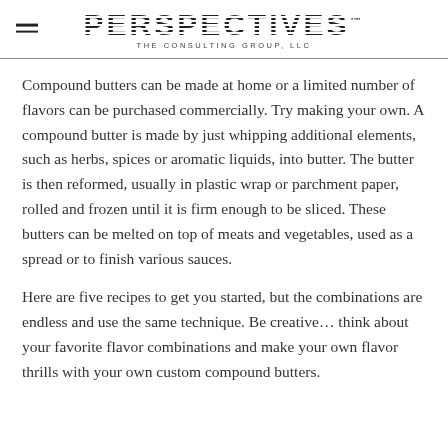PERSPECTIVES. THE CONSULTING GROUP, LLC
Compound butters can be made at home or a limited number of flavors can be purchased commercially. Try making your own. A compound butter is made by just whipping additional elements, such as herbs, spices or aromatic liquids, into butter. The butter is then reformed, usually in plastic wrap or parchment paper, rolled and frozen until it is firm enough to be sliced. These butters can be melted on top of meats and vegetables, used as a spread or to finish various sauces.
Here are five recipes to get you started, but the combinations are endless and use the same technique. Be creative… think about your favorite flavor combinations and make your own flavor thrills with your own custom compound butters.